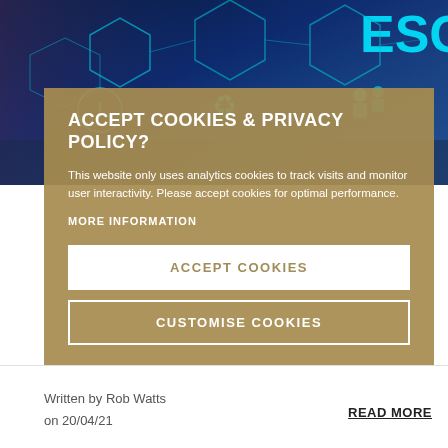[Figure (screenshot): ESG technology background image with hexagon icons including recycling, lightbulb, people, and ESG text in blue tones]
ACCEPT COOKIES & PRIVACY POLICY?
This website only uses analytics cookies to track visits and monitor user interactivity. Please accept cookies for optimal performance.
MORE INFORMATION
ACCEPT COOKIES
CUSTOMISE COOKIES
Written by Rob Watts
on 20/04/21
READ MORE